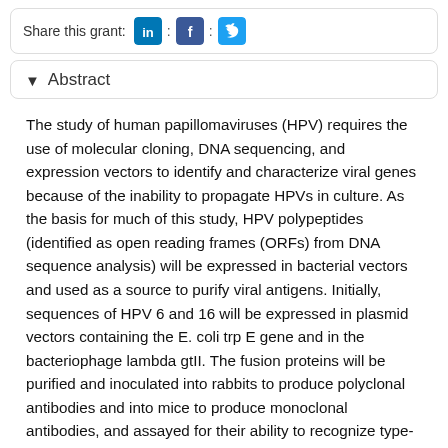[Figure (other): Share this grant social media bar with LinkedIn, Facebook, and Twitter icons]
Abstract
The study of human papillomaviruses (HPV) requires the use of molecular cloning, DNA sequencing, and expression vectors to identify and characterize viral genes because of the inability to propagate HPVs in culture. As the basis for much of this study, HPV polypeptides (identified as open reading frames (ORFs) from DNA sequence analysis) will be expressed in bacterial vectors and used as a source to purify viral antigens. Initially, sequences of HPV 6 and 16 will be expressed in plasmid vectors containing the E. coli trp E gene and in the bacteriophage lambda gtII. The fusion proteins will be purified and inoculated into rabbits to produce polyclonal antibodies and into mice to produce monoclonal antibodies, and assayed for their ability to recognize type-common and type-specific epitopes. Two